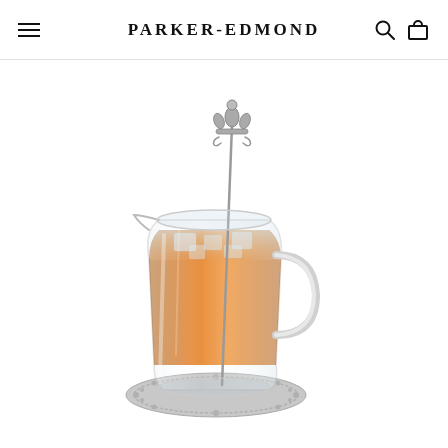PARKER-EDMOND
[Figure (photo): A glass pitcher filled with iced tea and ice cubes, containing a decorative silver fleur-de-lis stirring spoon. The pitcher sits on an ornate silver coaster/tray with decorative scrollwork border. The tea is amber/orange in color.]